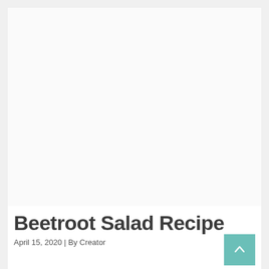[Figure (photo): Large white/blank image area at the top of the page — appears to be a placeholder for a beetroot salad recipe photo]
Beetroot Salad Recipe
April 15, 2020 | By Creator